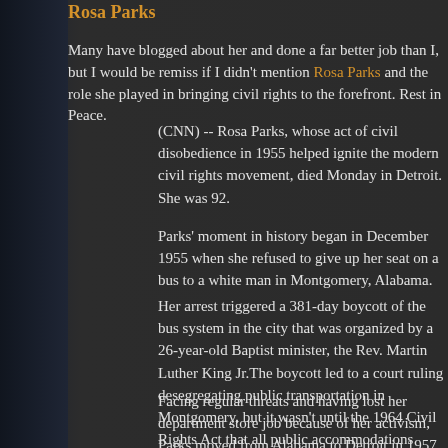Rosa Parks
Many have blogged about her and done a far better job than I, but I would be remiss if I didn't mention Rosa Parks and the role she played in bringing civil rights to the forefront. Rest in Peace.
(CNN) -- Rosa Parks, whose act of civil disobedience in 1955 helped ignite the modern civil rights movement, died Monday in Detroit. She was 92.
Parks' moment in history began in December 1955 when she refused to give up her seat on a bus to a white man in Montgomery, Alabama.
Her arrest triggered a 381-day boycott of the bus system in the city that was organized by a 26-year-old Baptist minister, the Rev. Martin Luther King Jr.The boycott led to a court ruling desegregating public transportation in Montgomery, but it wasn't until the 1964 Civil Rights Act that all public accommodations nationwide were desegregated.
Facing regular threats and having lost her department store job because of her activism, Parks moved from Alabama to Detroit in 1957, where she joined the staff of U.S. Rep. John Conyers, a Michigan